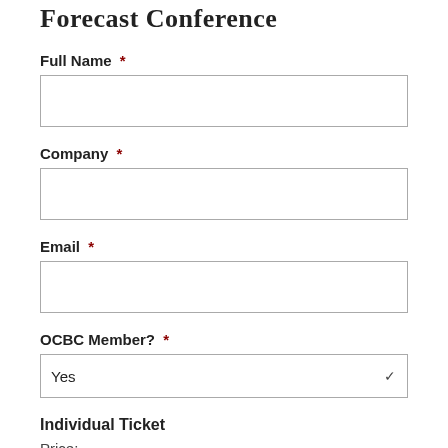Forecast Conference
Full Name *
Company *
Email *
OCBC Member? *
Yes
Individual Ticket
Price:
$200.00